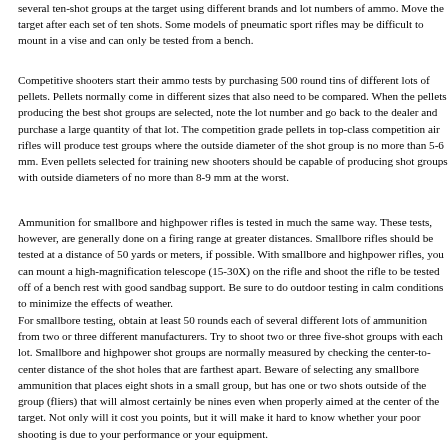several ten-shot groups at the target using different brands and lot numbers of ammo. Move the target after each set of ten shots. Some models of pneumatic sport rifles may be difficult to mount in a vise and can only be tested from a bench.
Competitive shooters start their ammo tests by purchasing 500 round tins of different lots of pellets. Pellets normally come in different sizes that also need to be compared. When the pellets producing the best shot groups are selected, note the lot number and go back to the dealer and purchase a large quantity of that lot. The competition grade pellets in top-class competition air rifles will produce test groups where the outside diameter of the shot group is no more than 5-6 mm. Even pellets selected for training new shooters should be capable of producing shot groups with outside diameters of no more than 8-9 mm at the worst.
Ammunition for smallbore and highpower rifles is tested in much the same way. These tests, however, are generally done on a firing range at greater distances. Smallbore rifles should be tested at a distance of 50 yards or meters, if possible. With smallbore and highpower rifles, you can mount a high-magnification telescope (15-30X) on the rifle and shoot the rifle to be tested off of a bench rest with good sandbag support. Be sure to do outdoor testing in calm conditions to minimize the effects of weather.
For smallbore testing, obtain at least 50 rounds each of several different lots of ammunition from two or three different manufacturers. Try to shoot two or three five-shot groups with each lot. Smallbore and highpower shot groups are normally measured by checking the center-to-center distance of the shot holes that are farthest apart. Beware of selecting any smallbore ammunition that places eight shots in a small group, but has one or two shots outside of the group (fliers) that will almost certainly be nines even when properly aimed at the center of the target. Not only will it cost you points, but it will make it hard to know whether your poor shooting is due to your performance or your equipment.